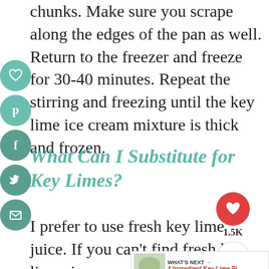chunks. Make sure you scrape along the edges of the pan as well. Return to the freezer and freeze for 30-40 minutes. Repeat the stirring and freezing until the key lime ice cream mixture is thick and frozen.
What Can I Substitute for Key Limes?
I prefer to use fresh key lime juice. If you can't find fresh key limes in your store, you can definitely use bottled key